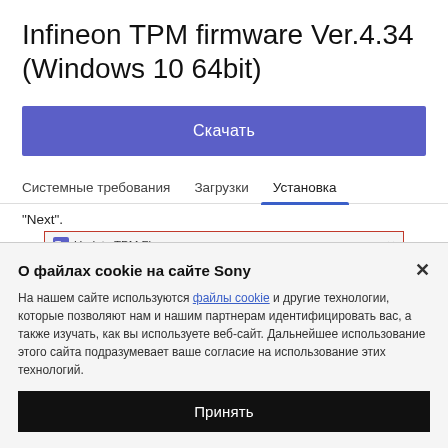Infineon TPM firmware Ver.4.34 (Windows 10 64bit)
Скачать
Системные требования	Загрузки	Установка
"Next".
[Figure (screenshot): Update TPM Firmware dialog box with title bar showing TPM icon and 'Update TPM Firmware', close button (×), and blue 'Welcome' link in grey body area]
О файлах cookie на сайте Sony
На нашем сайте используются файлы cookie и другие технологии, которые позволяют нам и нашим партнерам идентифицировать вас, а также изучать, как вы используете веб-сайт. Дальнейшее использование этого сайта подразумевает ваше согласие на использование этих технологий.
Принять